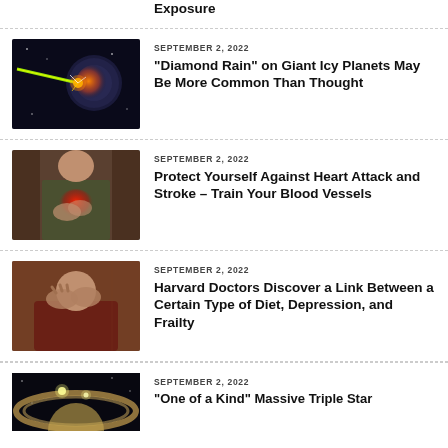Exposure
[Figure (photo): Laser beam hitting a glowing sphere in space]
SEPTEMBER 2, 2022
“Diamond Rain” on Giant Icy Planets May Be More Common Than Thought
[Figure (photo): Person clutching chest in pain suggesting heart attack]
SEPTEMBER 2, 2022
Protect Yourself Against Heart Attack and Stroke – Train Your Blood Vessels
[Figure (photo): Elderly person holding head in hands, looking distressed]
SEPTEMBER 2, 2022
Harvard Doctors Discover a Link Between a Certain Type of Diet, Depression, and Frailty
[Figure (photo): Space scene with rings of a planet and bright lights]
SEPTEMBER 2, 2022
“One of a Kind” Massive Triple Star